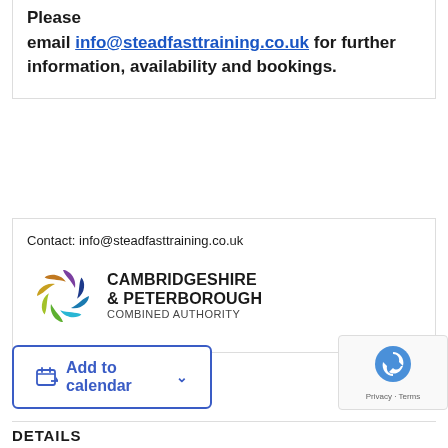Please email info@steadfasttraining.co.uk for further information, availability and bookings.
Contact: info@steadfasttraining.co.uk
[Figure (logo): Cambridgeshire & Peterborough Combined Authority logo with multicolor swirl icon]
Add to calendar
[Figure (other): reCAPTCHA badge with Privacy and Terms links]
DETAILS